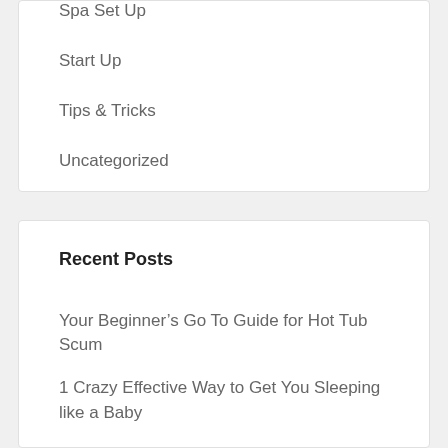Spa Set Up
Start Up
Tips & Tricks
Uncategorized
Recent Posts
Your Beginner's Go To Guide for Hot Tub Scum
1 Crazy Effective Way to Get You Sleeping like a Baby
Enjoy Your American Spas All Summer Long!
4 Morning ROUTINES That Will TRANSFORM